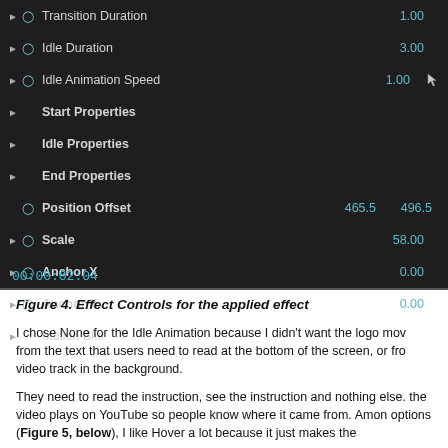[Figure (screenshot): Screenshot of Effect Controls panel in video editing software showing properties: Transition Duration (1.00), Idle Duration (3.00), Idle Animation Speed (1.00), Start Properties, Idle Properties, End Properties, Position Offset (465.5, 496.5), Scale (58.00), Anchor X (0.00), Anchor Y (0.00), Motion Blur. Timecode 00:00:02:04 at bottom.]
Figure 4. Effect Controls for the applied effect
I chose None for the Idle Animation because I didn't want the logo moving from the text that users need to read at the bottom of the screen, or from the video track in the background.
They need to read the instruction, see the instruction and nothing else. the video plays on YouTube so people know where it came from. Among options (Figure 5, below), I like Hover a lot because it just makes the